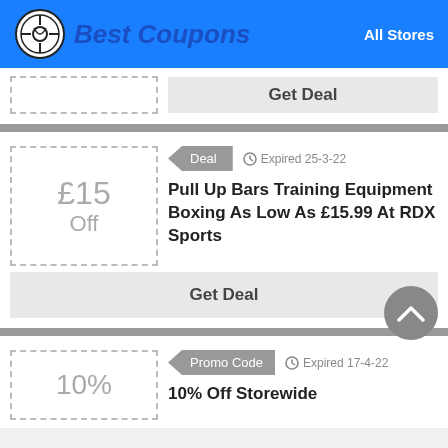Best Coupons — All Stores
Get Deal
Deal — Expired 25-3-22
£15 Off
Pull Up Bars Training Equipment Boxing As Low As £15.99 At RDX Sports
Get Deal
Promo Code — Expired 17-4-22
10%
10% Off Storewide